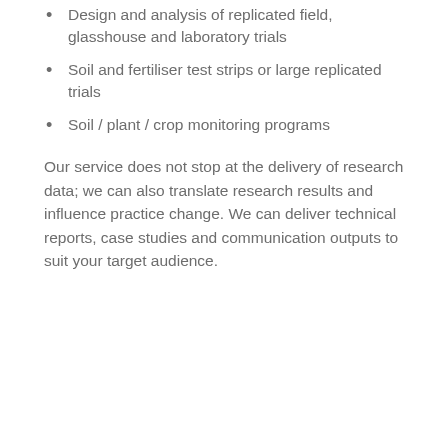Design and analysis of replicated field, glasshouse and laboratory trials
Soil and fertiliser test strips or large replicated trials
Soil / plant / crop monitoring programs
Our service does not stop at the delivery of research data; we can also translate research results and influence practice change. We can deliver technical reports, case studies and communication outputs to suit your target audience.